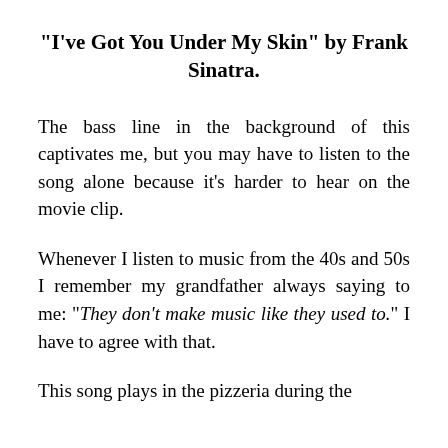“I’ve Got You Under My Skin” by Frank Sinatra.
The bass line in the background of this captivates me, but you may have to listen to the song alone because it’s harder to hear on the movie clip.
Whenever I listen to music from the 40s and 50s I remember my grandfather always saying to me: “They don’t make music like they used to.” I have to agree with that.
This song plays in the pizzeria during the